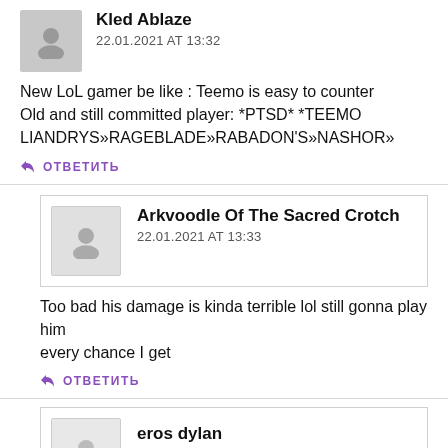Kled Ablaze
22.01.2021 AT 13:32
New LoL gamer be like : Teemo is easy to counter Old and still committed player: *PTSD* *TEEMO LIANDRYS»RAGEBLADE»RABADON'S»NASHOR»
ОТВЕТИТЬ
Arkvoodle Of The Sacred Crotch
22.01.2021 AT 13:33
Too bad his damage is kinda terrible lol still gonna play him every chance I get
ОТВЕТИТЬ
eros dylan